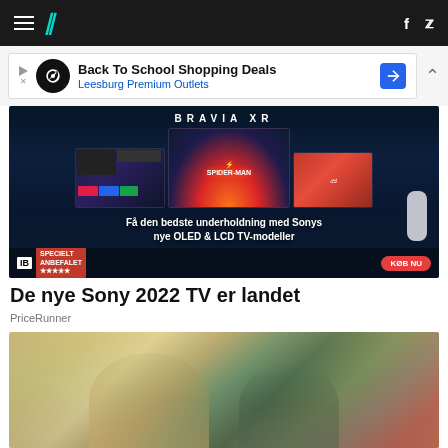HuffPost navigation bar with hamburger menu, logo, facebook and twitter icons
[Figure (screenshot): Advertisement banner: Back To School Shopping Deals - Leesburg Premium Outlets]
[Figure (photo): Sony BRAVIA XR advertisement showing multiple TV screens with gaming and movie content. Tagline: Få den bedste underholdning med Sonys nye OLED & LCD TV-modeller. KØB NU button.]
De nye Sony 2022 TV er landet
PriceRunner
[Figure (photo): Two men smiling in an ornate room - appears to be Boris Johnson and Volodymyr Zelensky meeting]